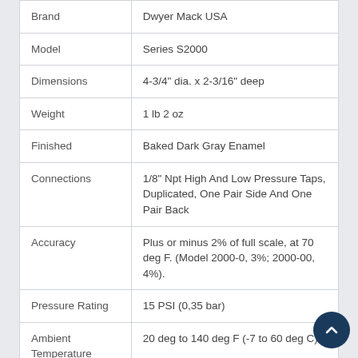| Brand | Dwyer Mack USA |
| Model | Series S2000 |
| Dimensions | 4-3/4" dia. x 2-3/16" deep |
| Weight | 1 lb 2 oz |
| Finished | Baked Dark Gray Enamel |
| Connections | 1/8" Npt High And Low Pressure Taps, Duplicated, One Pair Side And One Pair Back |
| Accuracy | Plus or minus 2% of full scale, at 70 deg F. (Model 2000-0, 3%; 2000-00, 4%). |
| Pressure Rating | 15 PSI (0,35 bar) |
| Ambient Temperature | 20 deg to 140 deg F (-7 to 60 deg C) |